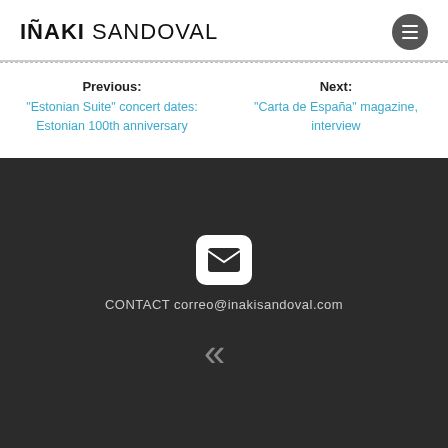IÑAKI SANDOVAL
Previous: "Estonian Suite" concert dates: Estonian 100th anniversary
Next: "Carta de España" magazine, interview
[Figure (illustration): Email envelope icon in white on a rounded rectangle background]
CONTACT correo@inakisandoval.com
[Figure (illustration): Double left-pointing chevron back-to-top icon]